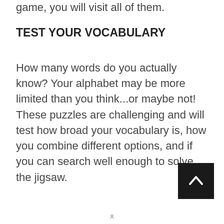game, you will visit all of them.
TEST YOUR VOCABULARY
How many words do you actually know? Your alphabet may be more limited than you think...or maybe not! These puzzles are challenging and will test how broad your vocabulary is, how you combine different options, and if you can search well enough to solve the jigsaw.
[Figure (other): Back to top button — black square with white upward-pointing arrow (chevron)]